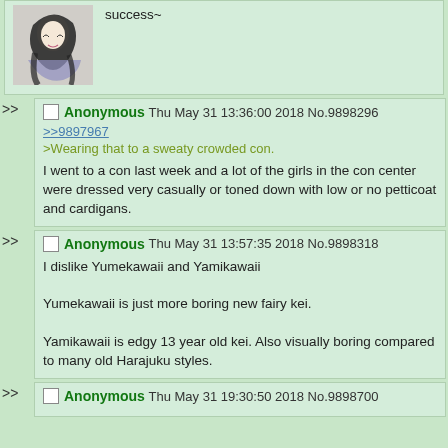[Figure (illustration): Anime-style illustration of a girl with long dark hair]
success~
Anonymous Thu May 31 13:36:00 2018 No.9898296
>>9897967
>Wearing that to a sweaty crowded con.

I went to a con last week and a lot of the girls in the con center were dressed very casually or toned down with low or no petticoat and cardigans.
Anonymous Thu May 31 13:57:35 2018 No.9898318
I dislike Yumekawaii and Yamikawaii

Yumekawaii is just more boring new fairy kei.

Yamikawaii is edgy 13 year old kei. Also visually boring compared to many old Harajuku styles.
Anonymous Thu May 31 19:30:50 2018 No.9898700